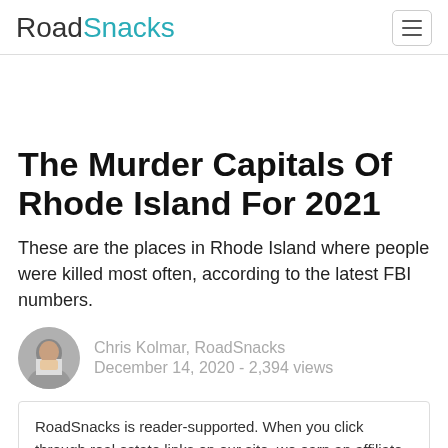RoadSnacks
The Murder Capitals Of Rhode Island For 2021
These are the places in Rhode Island where people were killed most often, according to the latest FBI numbers.
Chris Kolmar, RoadSnacks
December 14, 2020 - 2,394 views
RoadSnacks is reader-supported. When you click through real estate links on our site, we earn an affiliate